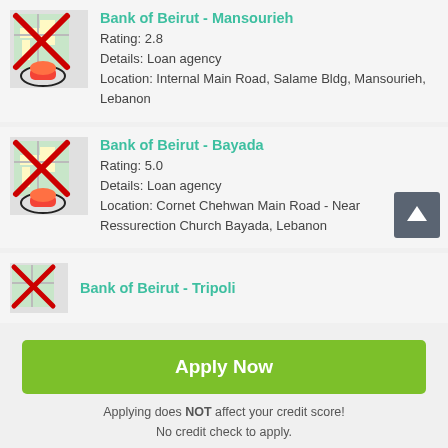[Figure (screenshot): Map icon with red X overlay for Bank of Beirut Mansourieh]
Bank of Beirut - Mansourieh
Rating: 2.8
Details: Loan agency
Location: Internal Main Road, Salame Bldg, Mansourieh, Lebanon
[Figure (screenshot): Map icon with red X overlay for Bank of Beirut Bayada]
Bank of Beirut - Bayada
Rating: 5.0
Details: Loan agency
Location: Cornet Chehwan Main Road - Near Ressurection Church Bayada, Lebanon
[Figure (screenshot): Map icon with red X overlay for Bank of Beirut Tripoli]
Bank of Beirut - Tripoli
Apply Now
Applying does NOT affect your credit score!
No credit check to apply.